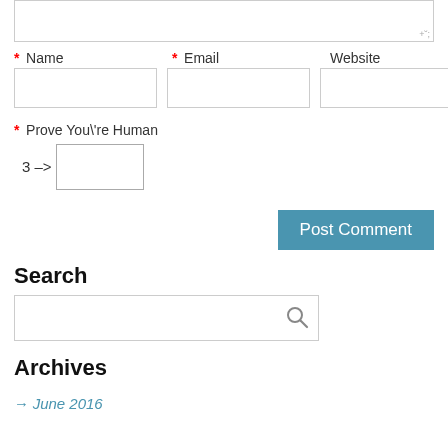[Figure (screenshot): Partial text area input box at the top (comment field)]
* Name   * Email   Website
[Figure (screenshot): Three form input fields: Name, Email, Website]
* Prove You\'re Human
3 – one = [input field]
Post Comment
Search
[Figure (screenshot): Search input box with search icon]
Archives
→ June 2016